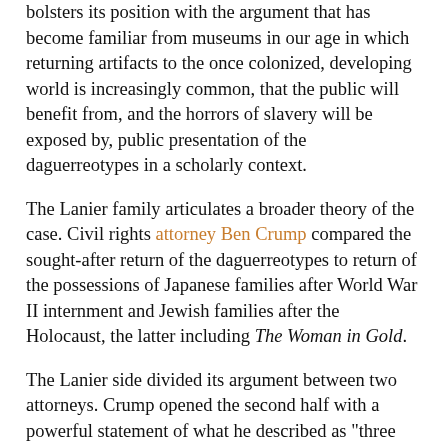bolsters its position with the argument that has become familiar from museums in our age in which returning artifacts to the once colonized, developing world is increasingly common, that the public will benefit from, and the horrors of slavery will be exposed by, public presentation of the daguerreotypes in a scholarly context.
The Lanier family articulates a broader theory of the case. Civil rights attorney Ben Crump compared the sought-after return of the daguerreotypes to return of the possessions of Japanese families after World War II internment and Jewish families after the Holocaust, the latter including The Woman in Gold.
The Lanier side divided its argument between two attorneys. Crump opened the second half with a powerful statement of what he described as "three historical references" to frame the case from the Lanier perspective.  First, he said:
The fact that I stand before you as a free man and not a slave is a testament to someone's decision to change the course of human history. It is a testament to our legal system, a testament